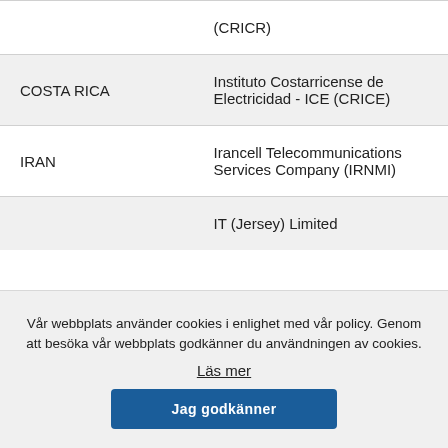| Country | Organization |
| --- | --- |
|  | (CRICR) |
| COSTA RICA | Instituto Costarricense de Electricidad - ICE (CRICE) |
| IRAN | Irancell Telecommunications Services Company (IRNMI) |
|  | IT (Jersey) Limited |
Vår webbplats använder cookies i enlighet med vår policy. Genom att besöka vår webbplats godkänner du användningen av cookies.
Läs mer
Jag godkänner